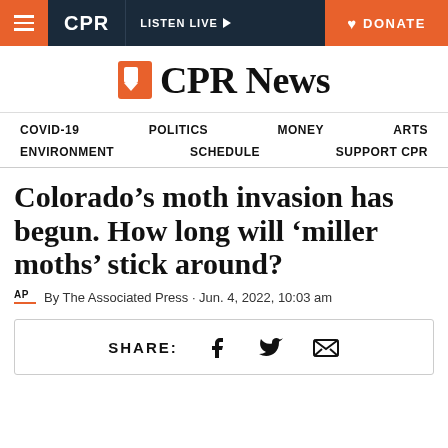CPR | LISTEN LIVE | DONATE
[Figure (logo): CPR News logo with orange bookmark icon]
COVID-19 | POLITICS | MONEY | ARTS | ENVIRONMENT | SCHEDULE | SUPPORT CPR
Colorado’s moth invasion has begun. How long will ‘miller moths’ stick around?
By The Associated Press · Jun. 4, 2022, 10:03 am
SHARE: